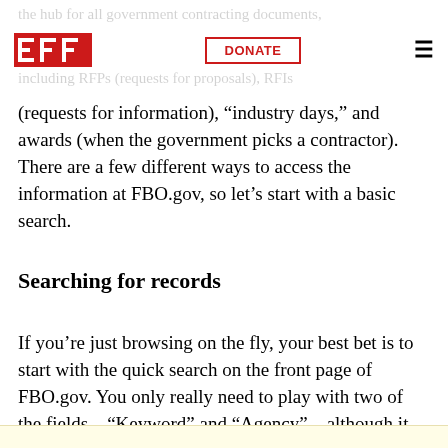the hub for all government contracting documents, including RFPs (requests for proposals), RFIs
[Figure (logo): EFF logo in red with white letters on red background]
DONATE
(requests for information), "industry days," and awards (when the government picks a contractor). There are a few different ways to access the information at FBO.gov, so let’s start with a basic search.
Searching for records
If you’re just browsing on the fly, your best bet is to start with the quick search on the front page of FBO.gov. You only really need to play with two of the fields—“Keyword” and “Agency”—although it works best if you only use one at a time.